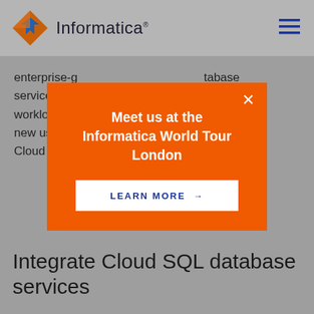Informatica
enterprise-g... ...tabase service quic... ...ernizing workloads b... ...uilding out new use ca... ...a and keep Cloud Span... ...cosystem.
[Figure (infographic): Orange modal popup with white text: 'Meet us at the Informatica World Tour London' and a white button 'LEARN MORE →']
Integrate Cloud SQL database services